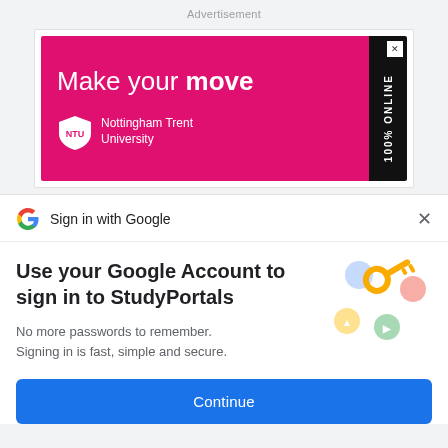Advertisement
[Figure (illustration): NTU Nottingham Trent University ad banner. Pink background with text 'Make your move', NTU shield logo, and black strip with '100% ONLINE' vertical text and X close button.]
Sign in with Google
Use your Google Account to sign in to StudyPortals
No more passwords to remember. Signing in is fast, simple and secure.
[Figure (illustration): Google sign-in illustration showing a golden key with colorful circular icons around it (blue, yellow, green, pink)]
Continue